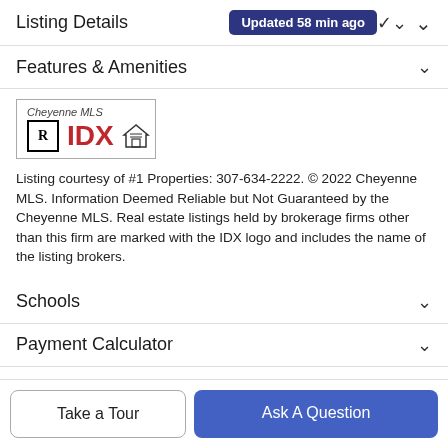Listing Details  Updated 58 min ago
Features & Amenities
[Figure (logo): Cheyenne MLS IDX logo with Realtor and Equal Housing icons]
Listing courtesy of #1 Properties: 307-634-2222. © 2022 Cheyenne MLS. Information Deemed Reliable but Not Guaranteed by the Cheyenne MLS. Real estate listings held by brokerage firms other than this firm are marked with the IDX logo and includes the name of the listing brokers.
Schools
Payment Calculator
Take a Tour
Ask A Question